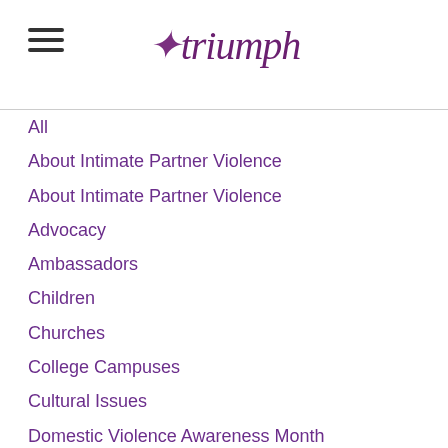triumph
All
About Intimate Partner Violence
About Intimate Partner Violence
Advocacy
Ambassadors
Children
Churches
College Campuses
Cultural Issues
Domestic Violence Awareness Month
Financial Recovery
How To Help A Friend
Human Rights
Human-rights
Immigrants
International
Media